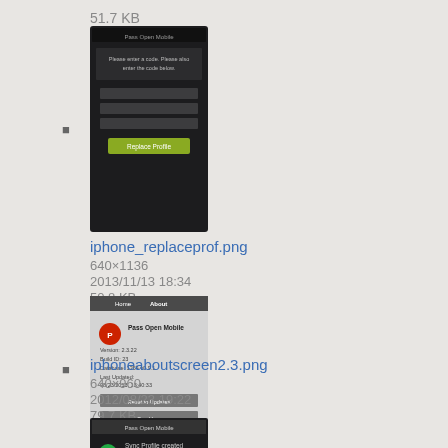51.7 KB
[Figure (screenshot): iPhone app screenshot showing a dark-themed form with input fields and a yellow/green button]
iphone_replaceprof.png
640×1136
2013/11/13 18:34
50.8 KB
[Figure (screenshot): iPhone screenshot showing an About screen with app info, version details and action buttons on gray background]
iphoneaboutscreen2.3.png
640×960
2012/08/23 19:22
79.7 KB
[Figure (screenshot): iPhone screenshot showing Pass Open Mobile with a green checkmark and red logo element, partially visible]